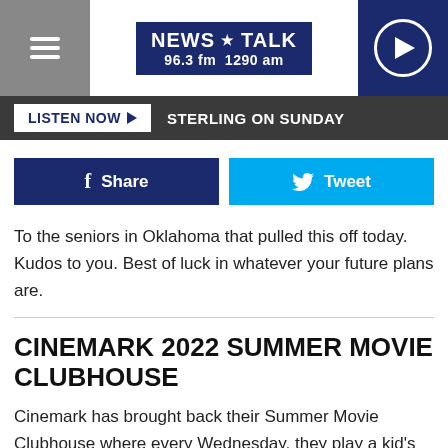NEWS TALK 96.3 fm 1290 am
LISTEN NOW   STERLING ON SUNDAY
[Figure (other): Facebook Share button and Twitter Tweet button]
To the seniors in Oklahoma that pulled this off today. Kudos to you. Best of luck in whatever your future plans are.
CINEMARK 2022 SUMMER MOVIE CLUBHOUSE
Cinemark has brought back their Summer Movie Clubhouse where every Wednesday, they play a kid's movie. Tickets are only $1.50, so its an amazing deal every single week. See which movies are playing next and check it out all summer